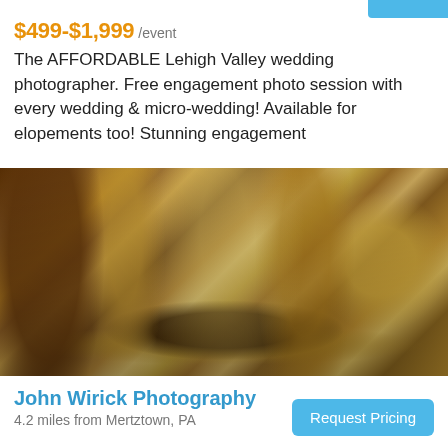$499-$1,999 /event
The AFFORDABLE Lehigh Valley wedding photographer. Free engagement photo session with every wedding & micro-wedding! Available for elopements too! Stunning engagement
[Figure (photo): Close-up photograph of shiny copper and brass brewery equipment/tanks with warm golden tones]
John Wirick Photography
4.2 miles from Mertztown, PA
Request Pricing